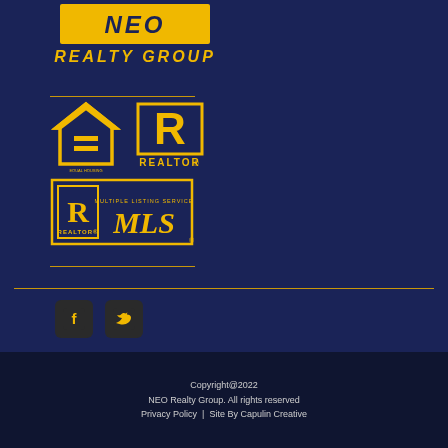[Figure (logo): NEO Realty Group logo with yellow banner and text]
[Figure (logo): Equal Housing Opportunity logo and REALTOR logo side by side]
[Figure (logo): REALTOR MLS Multiple Listing Service logo]
[Figure (logo): Facebook and Twitter social media icons]
Copyright@2022 NEO Realty Group. All rights reserved Privacy Policy | Site By Capulin Creative